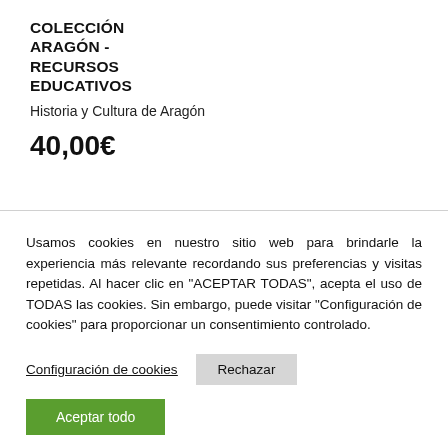COLECCIÓN ARAGÓN - RECURSOS EDUCATIVOS
Historia y Cultura de Aragón
40,00€
Usamos cookies en nuestro sitio web para brindarle la experiencia más relevante recordando sus preferencias y visitas repetidas. Al hacer clic en "ACEPTAR TODAS", acepta el uso de TODAS las cookies. Sin embargo, puede visitar "Configuración de cookies" para proporcionar un consentimiento controlado.
Configuración de cookies
Rechazar
Aceptar todo